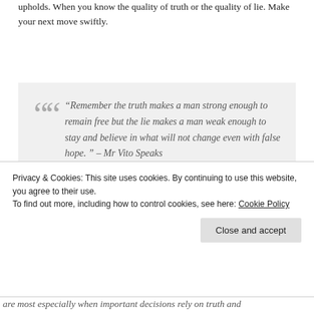upholds. When you know the quality of truth or the quality of lie. Make your next move swiftly.
“Remember the truth makes a man strong enough to remain free but the lie makes a man weak enough to stay and believe in what will not change even with false hope. ” – Mr Vito Speaks
Privacy & Cookies: This site uses cookies. By continuing to use this website, you agree to their use.
To find out more, including how to control cookies, see here: Cookie Policy
Close and accept
are most especially when important decisions rely on truth and